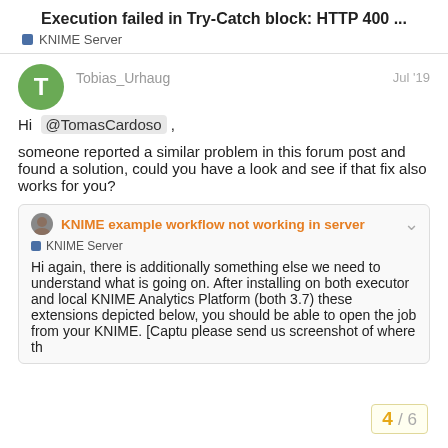Execution failed in Try-Catch block: HTTP 400 ...
KNIME Server
Tobias_Urhaug    Jul '19
Hi @TomasCardoso ,
someone reported a similar problem in this forum post and found a solution, could you have a look and see if that fix also works for you?
KNIME example workflow not working in server
KNIME Server
Hi again, there is additionally something else we need to understand what is going on. After installing on both executor and local KNIME Analytics Platform (both 3.7) these extensions depicted below, you should be able to open the job from your KNIME. [Captu please send us screenshot of where th
4 / 6